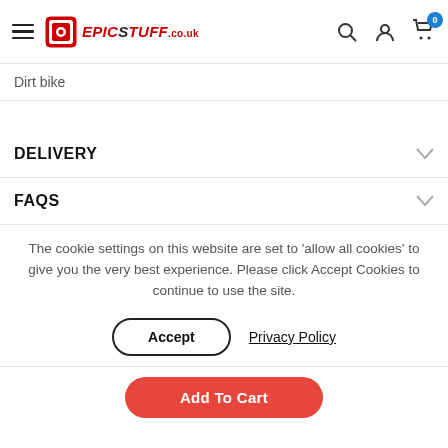EpicStuff.co.uk — navigation header with hamburger menu, logo, search, account, and cart icons
Dirt bike
DELIVERY
FAQS
The cookie settings on this website are set to 'allow all cookies' to give you the very best experience. Please click Accept Cookies to continue to use the site.
Accept | Privacy Policy
Add To Cart